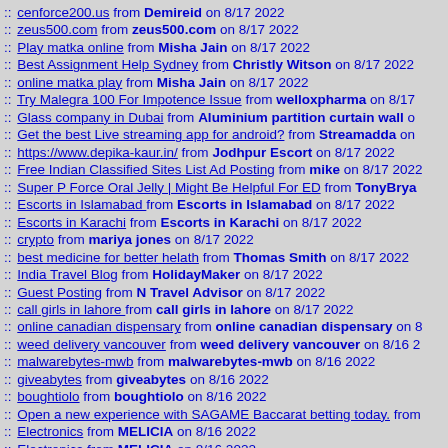:: cenforce200.us from Demireid on 8/17 2022
:: zeus500.com from zeus500.com on 8/17 2022
:: Play matka online from Misha Jain on 8/17 2022
:: Best Assignment Help Sydney from Christly Witson on 8/17 2022
:: online matka play from Misha Jain on 8/17 2022
:: Try Malegra 100 For Impotence Issue from welloxpharma on 8/17
:: Glass company in Dubai from Aluminium partition curtain wall o
:: Get the best Live streaming app for android? from Streamadda on
:: https://www.depika-kaur.in/ from Jodhpur Escort on 8/17 2022
:: Free Indian Classified Sites List Ad Posting from mike on 8/17 2022
::  Super P Force Oral Jelly | Might Be Helpful For ED from TonyBrya
:: Escorts in Islamabad from Escorts in Islamabad on 8/17 2022
:: Escorts in Karachi from Escorts in Karachi on 8/17 2022
:: crypto from mariya jones on 8/17 2022
:: best medicine for better helath from Thomas Smith on 8/17 2022
:: India Travel Blog from HolidayMaker on 8/17 2022
:: Guest Posting from N Travel Advisor on 8/17 2022
:: call girls in lahore from call girls in lahore on 8/17 2022
:: online canadian dispensary from online canadian dispensary on 8
:: weed delivery vancouver from weed delivery vancouver on 8/16 2
:: malwarebytes-mwb from malwarebytes-mwb on 8/16 2022
:: giveabytes from giveabytes on 8/16 2022
:: boughtiolo from boughtiolo on 8/16 2022
:: Open a new experience with SAGAME Baccarat betting today. from
:: Electronics from MELICIA on 8/16 2022
:: Electronics from MELICIA on 8/16 2022
:: Beautiful kitchen upstands from Kitchen Upstands Worktops on 8
:: Black worktops For Kitchen from Black Quartz Worktops on 8/16
:: licensekey-pcmatic from licensekey-pcmatic on 8/16 2022
:: logmechin from logmechin on 8/16 2022